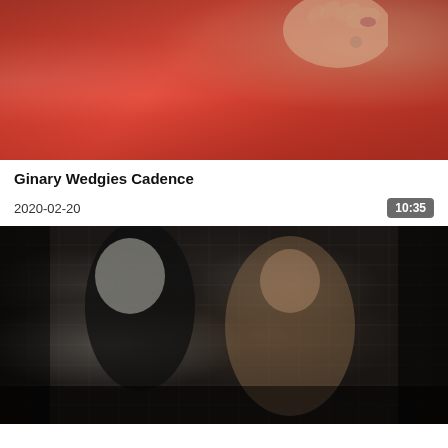[Figure (photo): Close-up photo showing a red fabric garment being held/gripped by a hand with painted red nails and a ring, against a dark background]
Ginary Wedgies Cadence
2020-02-20
10:35
[Figure (photo): Dark photo of two figures against a brick wall background — one in a black latex outfit with blonde hair wearing a gas mask, the other with heavy tattoos on arms and legs wearing black lingerie, in a dramatic pose]